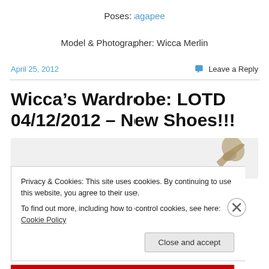Poses: agapee
Model & Photographer: Wicca Merlin
April 25, 2012
Leave a Reply
Wicca's Wardrobe: LOTD 04/12/2012 – New Shoes!!!
[Figure (photo): Partial view of shoe image in light grey box]
Privacy & Cookies: This site uses cookies. By continuing to use this website, you agree to their use.
To find out more, including how to control cookies, see here: Cookie Policy
Close and accept